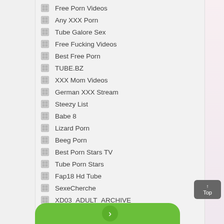Free Porn Videos
Any XXX Porn
Tube Galore Sex
Free Fucking Videos
Best Free Porn
TUBE.BZ
XXX Mom Videos
German XXX Stream
Steezy List
Babe 8
Lizard Porn
Beeg Porn
Best Porn Stars TV
Tube Porn Stars
Fap18 Hd Tube
SexeCherche
XD03_ADULT_ARCHIVE
Bitch Show
PornShare.biz
FilesMonster.TV